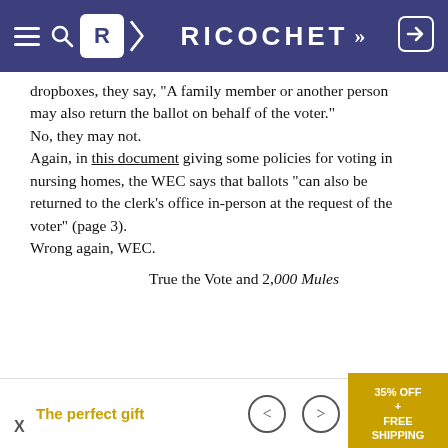RICOCHET
dropboxes, they say, "A family member or another person may also return the ballot on behalf of the voter."
No, they may not.
Again, in this document giving some policies for voting in nursing homes, the WEC says that ballots “can also be returned to the clerk’s office in-person at the request of the voter” (page 3).
Wrong again, WEC.
True the Vote and 2,000 Mules
Enough about Wisconsin.
[Figure (photo): Partial photo visible at bottom right, appears to show an outdoor scene]
The perfect gift   35% OFF + FREE SHIPPING